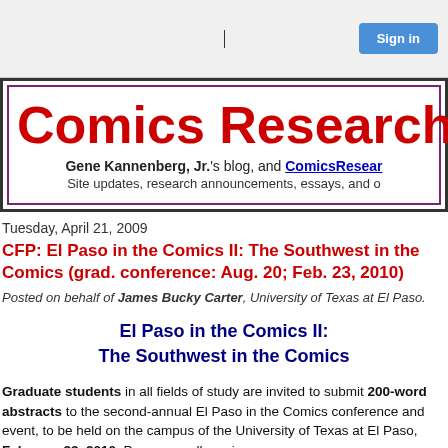Sign in
Comics Research
Gene Kannenberg, Jr.'s blog, and ComicsResear... Site updates, research announcements, essays, and o...
Tuesday, April 21, 2009
CFP: El Paso in the Comics II: The Southwest in the Comics (grad. conference: Aug. 20; Feb. 23, 2010)
Posted on behalf of James Bucky Carter, University of Texas at El Paso.
El Paso in the Comics II:
The Southwest in the Comics
Graduate students in all fields of study are invited to submit 200-word abstracts to the second-annual El Paso in the Comics conference and event, to be held on the campus of the University of Texas at El Paso, February 23, 2010. Papers on all comic...